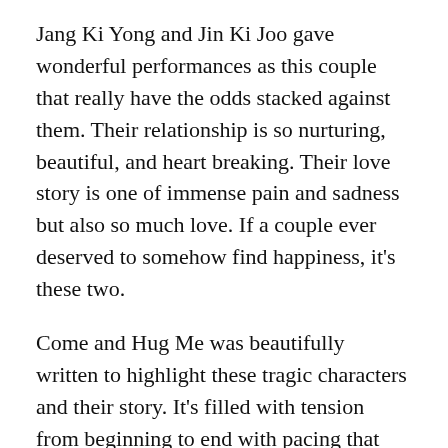Jang Ki Yong and Jin Ki Joo gave wonderful performances as this couple that really have the odds stacked against them. Their relationship is so nurturing, beautiful, and heart breaking. Their love story is one of immense pain and sadness but also so much love. If a couple ever deserved to somehow find happiness, it's these two.
Come and Hug Me was beautifully written to highlight these tragic characters and their story. It's filled with tension from beginning to end with pacing that kept me engaged as this haunting tale unfolded. Every episode and scene is important which is why the drama is so well done. Come and Hug Me really moved me, and it is the kind of drama that will leave a lasting impression.
Advertisements
[Figure (other): Advertisement banner for Macy's with text 'KISS BORING LIPS GOODBYE' and 'SHOP NOW' button with Macy's logo on red background]